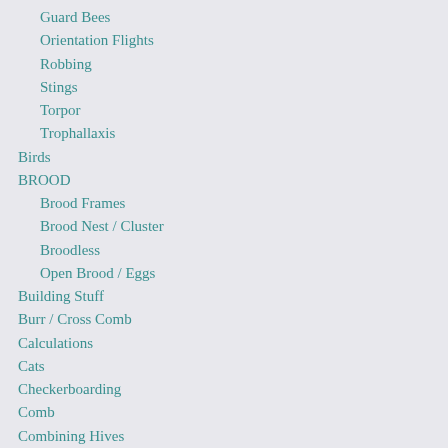Guard Bees
Orientation Flights
Robbing
Stings
Torpor
Trophallaxis
Birds
BROOD
Brood Frames
Brood Nest / Cluster
Broodless
Open Brood / Eggs
Building Stuff
Burr / Cross Comb
Calculations
Cats
Checkerboarding
Comb
Combining Hives
Cracks & Gaps
Dead Bees or Deadouts
Dearth
Deep Thoughts